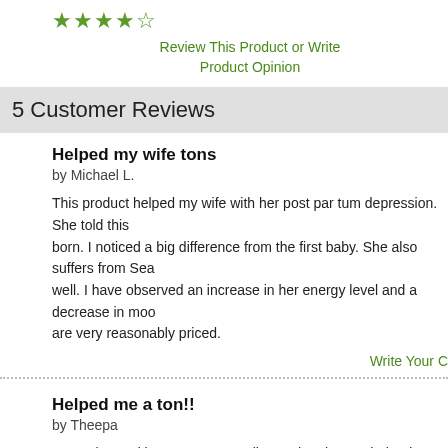[Figure (other): Star rating: 4.5 out of 5 green stars]
Review This Product or Write Product Opinion
5 Customer Reviews
Helped my wife tons
by Michael L.
This product helped my wife with her post par tum depression. She told this born. I noticed a big difference from the first baby. She also suffers from Sea well. I have observed an increase in her energy level and a decrease in moo are very reasonably priced.
Write Your C
Helped me a ton!!
by Theepa
My cycles and hormones were all over the place. It helped me in regulating cycle. Soon after I took Vitex , my cycle became normal and I conceived the daughter. Definitely helped me to see the light at the end of the tunnel.